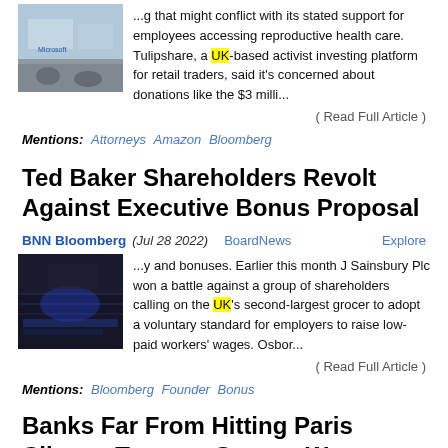[Figure (photo): Photo of Microsoft store/office with people]
...g that might conflict with its stated support for employees accessing reproductive health care. Tulipshare, a UK-based activist investing platform for retail traders, said it's concerned about donations like the $3 milli...
( Read Full Article )
Mentions: Attorneys Amazon Bloomberg
Ted Baker Shareholders Revolt Against Executive Bonus Proposal
BNN Bloomberg (Jul 28 2022) BoardNews Explore
[Figure (photo): Dark photo related to Ted Baker article]
...y and bonuses. Earlier this month J Sainsbury Plc won a battle against a group of shareholders calling on the UK's second-largest grocer to adopt a voluntary standard for employers to raise low-paid workers' wages. Osbor...
( Read Full Article )
Mentions: Bloomberg Founder Bonus
Banks Far From Hitting Paris Climate Targets, Groups Warn
Boston 25 News  Boston 25 News (Jul 27 2022) BoardNews Explore